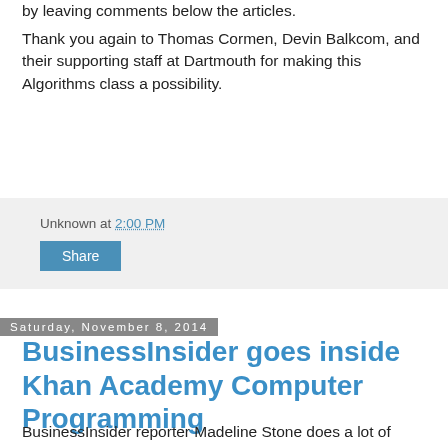by leaving comments below the articles.
Thank you again to Thomas Cormen, Devin Balkcom, and their supporting staff at Dartmouth for making this Algorithms class a possibility.
Unknown at 2:00 PM
Share
Saturday, November 8, 2014
BusinessInsider goes inside Khan Academy Computer Programming
BusinessInsider reporter Madeline Stone does a lot of reporting about the tech sector, so she decided to get a taste for it herself by going through an entire Intro to JavaScript course. She wrote up a great article about her experience, including a few areas where we can improve (and we're working on those!). Check out one of her projects: